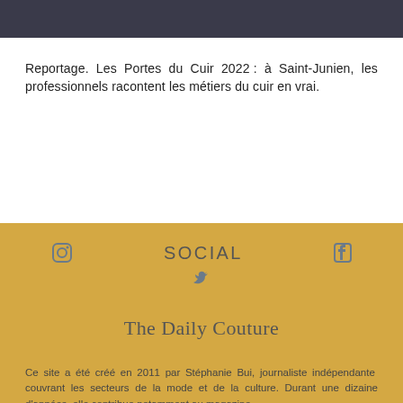[Figure (photo): Dark photograph strip at the top of the page, appearing to show people in a workshop or industrial setting.]
Reportage. Les Portes du Cuir 2022 : à Saint-Junien, les professionnels racontent les métiers du cuir en vrai.
SOCIAL
The Daily Couture
Ce site a été créé en 2011 par Stéphanie Bui, journaliste indépendante  couvrant les secteurs de la mode et de la culture. Durant une dizaine d'années, elle contribue notamment au magazine